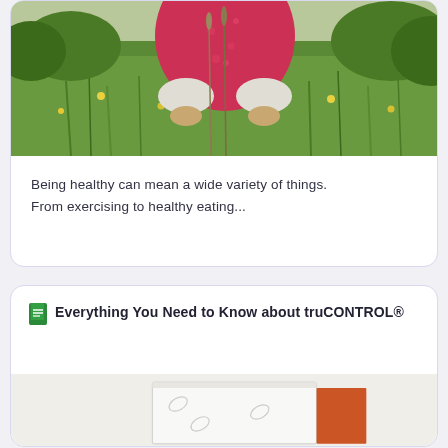[Figure (photo): Person in red polka dot top sitting or crouching in a green grassy field with yellow wildflowers]
Being healthy can mean a wide variety of things. From exercising to healthy eating...
Everything You Need to Know about truCONTROL®
[Figure (photo): Product box for truCONTROL with white box and orange side panel, partially visible at bottom of card]